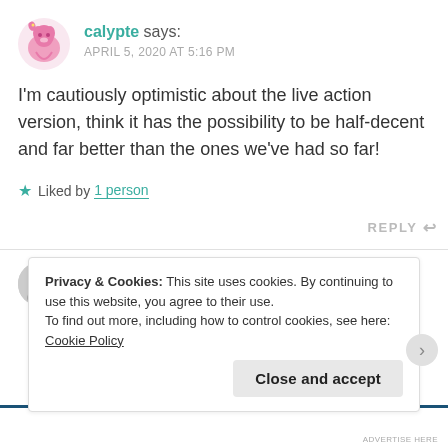calypte says: APRIL 5, 2020 AT 5:16 PM
I'm cautiously optimistic about the live action version, think it has the possibility to be half-decent and far better than the ones we've had so far!
★ Liked by 1 person
REPLY ↩
Privacy & Cookies: This site uses cookies. By continuing to use this website, you agree to their use.
To find out more, including how to control cookies, see here: Cookie Policy
Close and accept